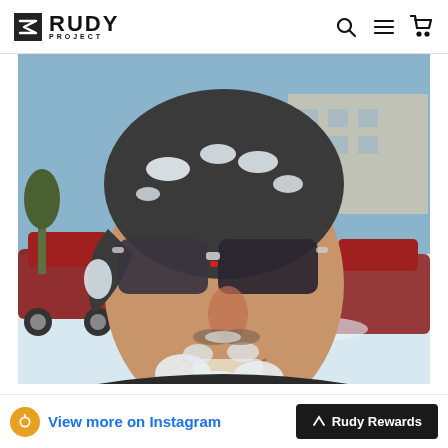Rudy Project — Navigation header with logo, search, menu, and cart icons
[Figure (photo): Close-up photo of a man smiling outdoors in winter, wearing a dark beanie hat covered in snow and Rudy Project sport sunglasses with clear/grey frames and dark lenses. His beard and mustache are frosted with snow and ice. Background shows a snowy parking lot with a red vehicle and a building.]
View more on Instagram
Rudy Rewards